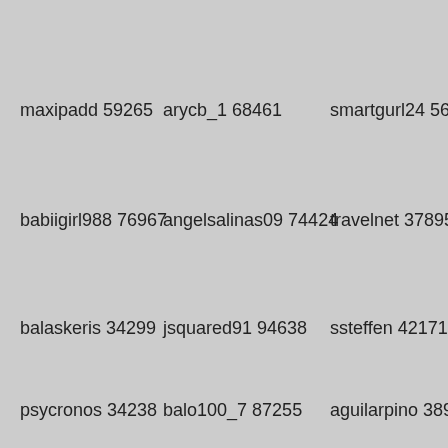maxipadd 59265
arycb_1 68461
smartgurl24 56294
babiigirl988 76967
angelsalinas09 74424
travelnet 37895
balaskeris 34299
jsquared91 94638
ssteffen 42171
psycronos 34238
balo100_7 87255
aguilarpino 38997